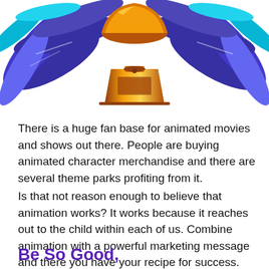[Figure (illustration): Illustration of a golden trophy/bell award with blue and teal decorative leaves in the background, partially cropped at the top of the page.]
There is a huge fan base for animated movies and shows out there. People are buying animated character merchandise and there are several theme parks profiting from it.
Is that not reason enough to believe that animation works? It works because it reaches out to the child within each of us. Combine animation with a powerful marketing message and there you have your recipe for success.
Be So Good,